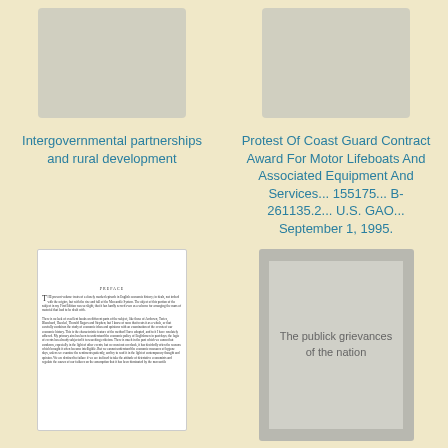[Figure (illustration): Book cover thumbnail, gray/beige placeholder for 'Intergovernmental partnerships and rural development']
Intergovernmental partnerships and rural development
[Figure (illustration): Book cover thumbnail, gray/beige placeholder for 'Protest Of Coast Guard Contract Award For Motor Lifeboats And Associated Equipment And Services... 155175... B-261135.2... U.S. GAO... September 1, 1995.']
Protest Of Coast Guard Contract Award For Motor Lifeboats And Associated Equipment And Services... 155175... B-261135.2... U.S. GAO... September 1, 1995.
[Figure (illustration): Book page thumbnail showing a preface page with dense text, heading 'PREFACE', beginning with a drop cap T]
[Figure (illustration): Book cover thumbnail showing gray cover with text 'The publick grievances of the nation']
The publick grievances of the nation